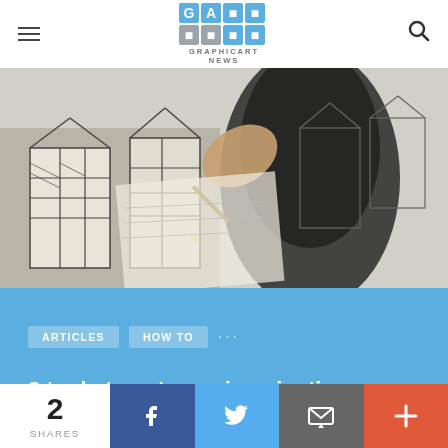GRAPHICART NEWS
[Figure (photo): A hand holding a pen drawing architectural sketches on paper, featuring detailed building facades with half-timbered structures.]
ARTICLES
HOW TO
8 tools to get your imagination on canvas
2 SHARES | Facebook | Twitter | Email | More